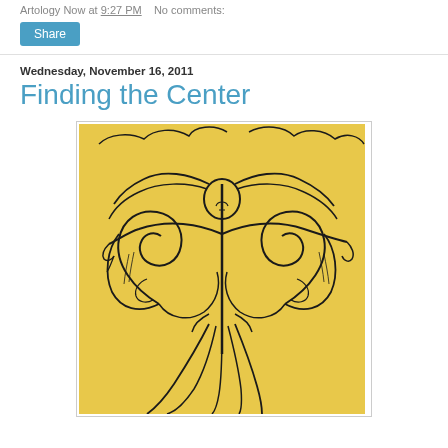Artology Now at 9:27 PM   No comments:
Share
Wednesday, November 16, 2011
Finding the Center
[Figure (illustration): Black ink pen drawing on yellow paper. A central figure with flowing hair and outstretched arms, surrounded by large swirling spiral forms on each side, with streaming lines flowing downward. Dramatic, expressive style.]